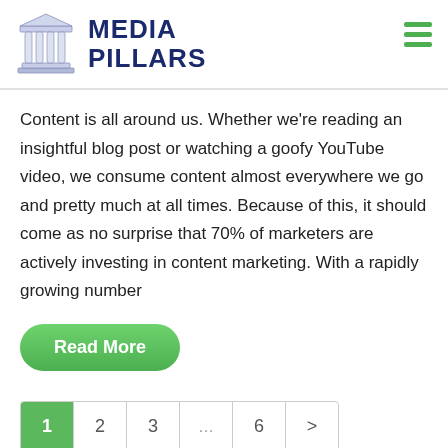MEDIA PILLARS
Content is all around us. Whether we're reading an insightful blog post or watching a goofy YouTube video, we consume content almost everywhere we go and pretty much at all times. Because of this, it should come as no surprise that 70% of marketers are actively investing in content marketing. With a rapidly growing number
Read More
1  2  3  …  6  >